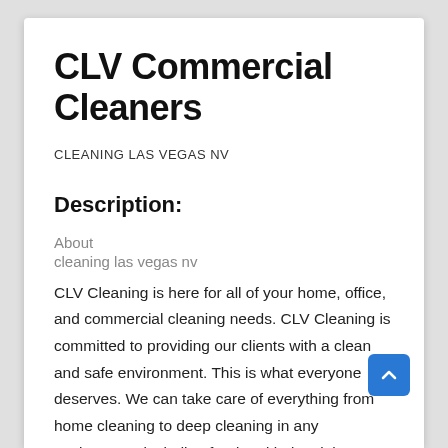CLV Commercial Cleaners
CLEANING LAS VEGAS NV
Description:
About
cleaning las vegas nv
CLV Cleaning is here for all of your home, office, and commercial cleaning needs. CLV Cleaning is committed to providing our clients with a clean and safe environment. This is what everyone deserves. We can take care of everything from home cleaning to deep cleaning in any environment including food and industrial spaces. Give us a call today to get a free no